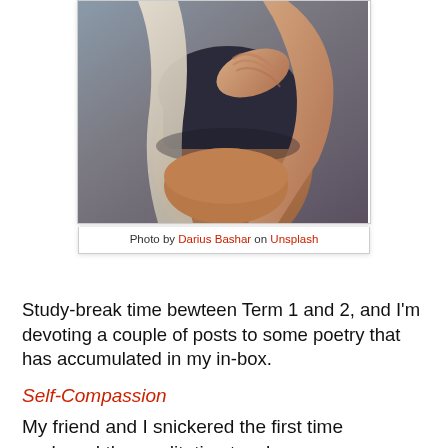[Figure (photo): Close-up photo of a person wearing a dark top, hand placed on chest, white fabric draped over shoulder, midsection visible]
Photo by Darius Bashar on Unsplash
Study-break time bewteen Term 1 and 2, and I'm devoting a couple of posts to some poetry that has accumulated in my in-box.
Self-Compassion
My friend and I snickered the first time we heard the meditation teacher, a grown man,